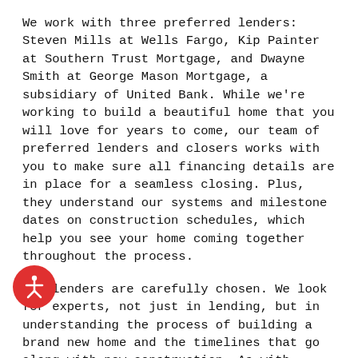We work with three preferred lenders: Steven Mills at Wells Fargo, Kip Painter at Southern Trust Mortgage, and Dwayne Smith at George Mason Mortgage, a subsidiary of United Bank. While we're working to build a beautiful home that you will love for years to come, our team of preferred lenders and closers works with you to make sure all financing details are in place for a seamless closing. Plus, they understand our systems and milestone dates on construction schedules, which help you see your home coming together throughout the process.
Our lenders are carefully chosen. We look for experts, not just in lending, but in understanding the process of building a brand new home and the timelines that go along with new construction. As with buying any home, pre-approval is always recommended, especially these days with tight competition from other buyers. Our partners will work with you days, nights, and weekends to get you properly positioned to make your purchase and then will be there with you, communicating with you and our team, to ensure a smooth and easy closing.
Best of all, when you work with one of our preferred partners and...